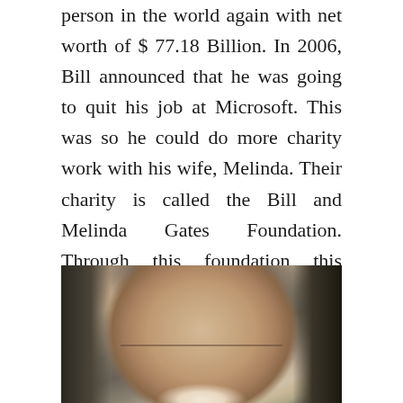person in the world again with net worth of $ 77.18 Billion. In 2006, Bill announced that he was going to quit his job at Microsoft. This was so he could do more charity work with his wife, Melinda. Their charity is called the Bill and Melinda Gates Foundation. Through this foundation this America's richest person hopes to eradicate the poverty and provide support for improving health in poor countries.
[Figure (photo): Portrait photo of Bill Gates smiling, wearing glasses, with grey-brown hair, photographed outdoors with dark background]